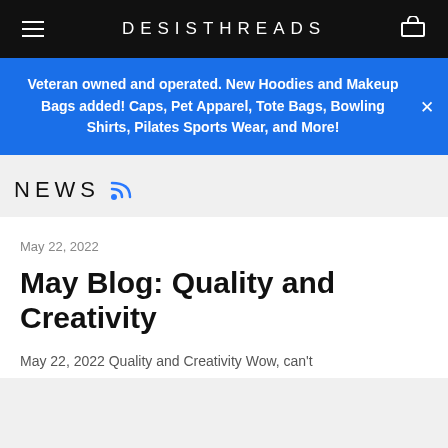DESISTHREADS
Veteran owned and operated. New Hoodies and Makeup Bags added! Caps, Pet Apparel, Tote Bags, Bowling Shirts, Pilates Sports Wear, and More!
NEWS
May 22, 2022
May Blog: Quality and Creativity
May 22, 2022 Quality and Creativity Wow, can't